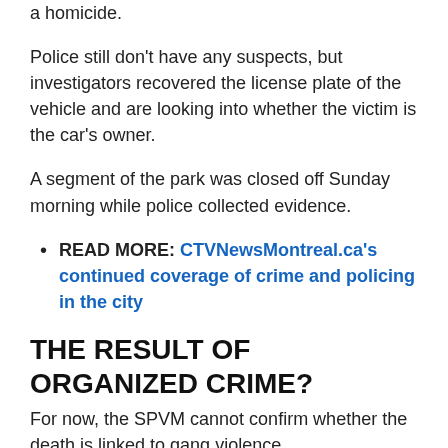a homicide.
Police still don't have any suspects, but investigators recovered the license plate of the vehicle and are looking into whether the victim is the car's owner.
A segment of the park was closed off Sunday morning while police collected evidence.
READ MORE: CTVNewsMontreal.ca's continued coverage of crime and policing in the city
THE RESULT OF ORGANIZED CRIME?
For now, the SPVM cannot confirm whether the death is linked to gang violence.